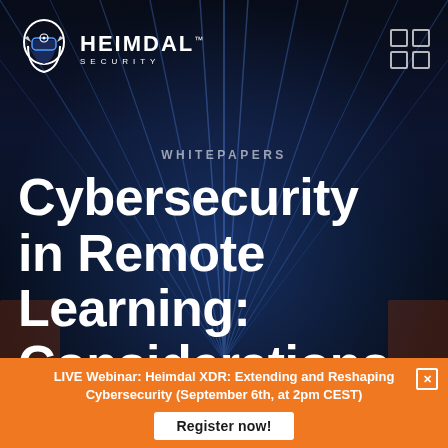[Figure (logo): Heimdal Security logo with helmet icon on dark background]
WHITEPAPERS
Cybersecurity in Remote Learning: Considerations
LIVE Webinar: Heimdal XDR: Extending and Reshaping Cybersecurity (September 6th, at 2pm CEST)
Register now!